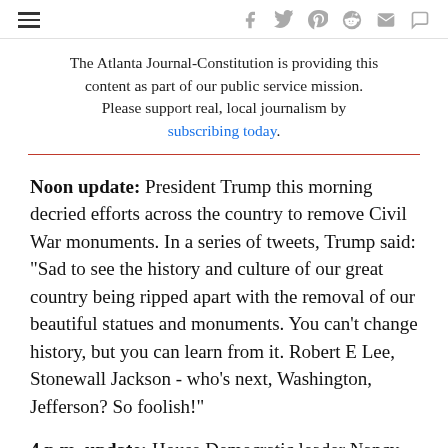≡ f 𝕏 P reddit ✉ ☐
The Atlanta Journal-Constitution is providing this content as part of our public service mission. Please support real, local journalism by subscribing today.
Noon update: President Trump this morning decried efforts across the country to remove Civil War monuments. In a series of tweets, Trump said: "Sad to see the history and culture of our great country being ripped apart with the removal of our beautiful statues and monuments. You can't change history, but you can learn from it. Robert E Lee, Stonewall Jackson - who's next, Washington, Jefferson? So foolish!"
4 p.m. update: House Democratic leader Nancy